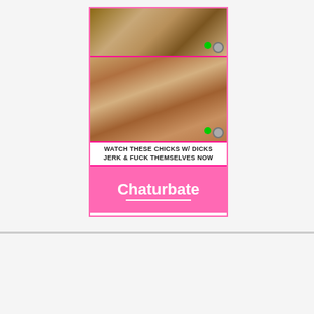[Figure (other): Adult advertisement banner with photos, text 'WATCH THESE CHICKS W/ DICKS JERK & FUCK THEMSELVES NOW' and Chaturbate logo on pink background]
Log In Here
[Figure (logo): Colorful logo text at bottom of page]